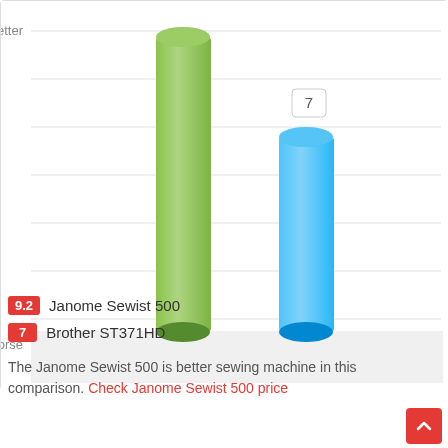[Figure (bar-chart): Comparison bar chart]
9.2 Janome Sewist 500
7 Brother ST371HD
The Janome Sewist 500 is better sewing machine in this comparison. Check Janome Sewist 500 price